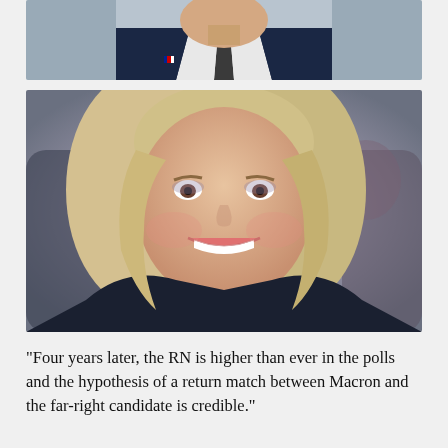[Figure (photo): Partial photo of a man in a dark navy suit with white shirt and tie, French flag pin on lapel — Emmanuel Macron, cropped to show chin/neck/chest area only]
[Figure (photo): Photo of a smiling blonde woman — Marine Le Pen — photographed laughing, wearing dark clothing, with blurred background figures]
“Four years later, the RN is higher than ever in the polls and the hypothesis of a return match between Macron and the far-right candidate is credible.”